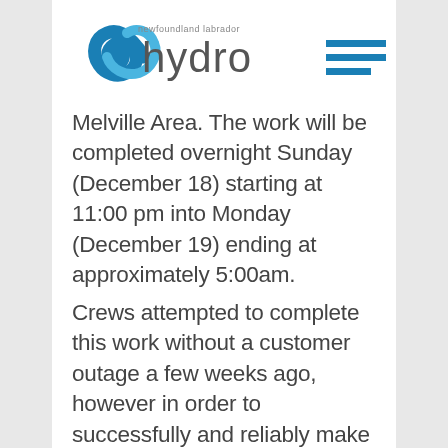[Figure (logo): Newfoundland Labrador Hydro logo with blue swirl icon and 'hydro' text in gray]
Melville Area. The work will be completed overnight Sunday (December 18) starting at 11:00 pm into Monday (December 19) ending at approximately 5:00am.
Crews attempted to complete this work without a customer outage a few weeks ago, however in order to successfully and reliably make the repair, it has now been determined that a customer outage is required. Hydro is able to provide power to the majority of residential customers in the HVGB area with back-up emergency generation. Unfortunately, given the load this time of year, some customers will remain off for the duration of the